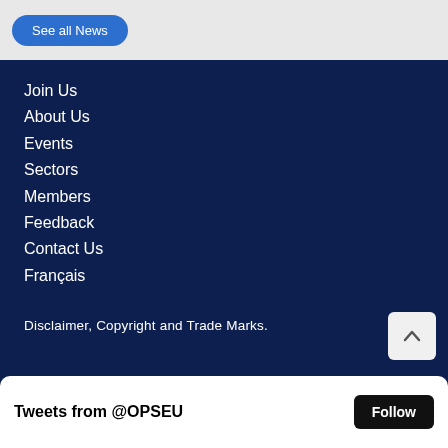See all News
Join Us
About Us
Events
Sectors
Members
Feedback
Contact Us
Français
Disclaimer, Copyright and Trade Marks.
[Figure (logo): OPSEU SEFPO logo — white stylized mountain/leaf symbol with diagonal lines on dark navy background]
Tweets from @OPSEU
Follow